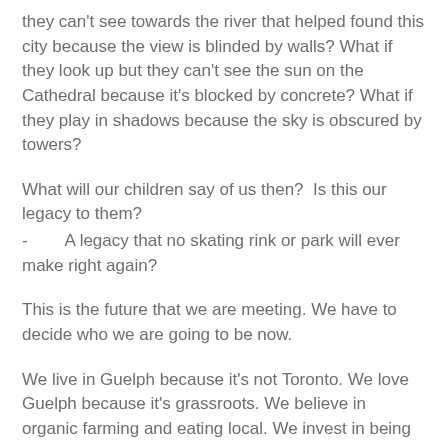they can't see towards the river that helped found this city because the view is blinded by walls? What if they look up but they can't see the sun on the Cathedral because it's blocked by concrete? What if they play in shadows because the sky is obscured by towers?
What will our children say of us then?  Is this our legacy to them?
-        A legacy that no skating rink or park will ever make right again?
This is the future that we are meeting. We have to decide who we are going to be now.
We live in Guelph because it's not Toronto. We love Guelph because it's grassroots. We believe in organic farming and eating local. We invest in being